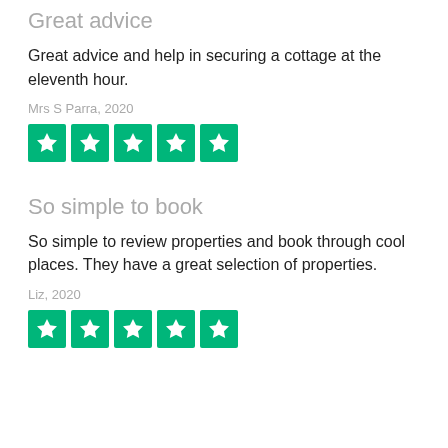Great advice
Great advice and help in securing a cottage at the eleventh hour.
Mrs S Parra, 2020
[Figure (other): Five Trustpilot green star rating boxes]
So simple to book
So simple to review properties and book through cool places. They have a great selection of properties.
Liz, 2020
[Figure (other): Five Trustpilot green star rating boxes]